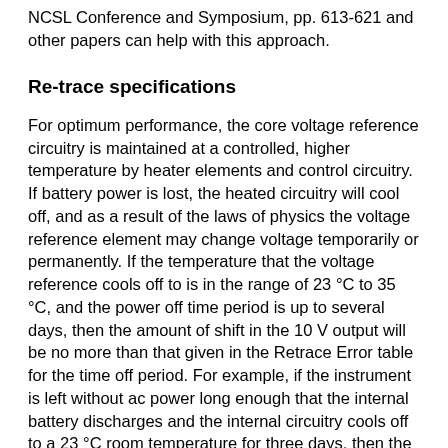NCSL Conference and Symposium, pp. 613-621 and other papers can help with this approach.
Re-trace specifications
For optimum performance, the core voltage reference circuitry is maintained at a controlled, higher temperature by heater elements and control circuitry. If battery power is lost, the heated circuitry will cool off, and as a result of the laws of physics the voltage reference element may change voltage temporarily or permanently. If the temperature that the voltage reference cools off to is in the range of 23 °C to 35 °C, and the power off time period is up to several days, then the amount of shift in the 10 V output will be no more than that given in the Retrace Error table for the time off period. For example, if the instrument is left without ac power long enough that the internal battery discharges and the internal circuitry cools off to a 23 °C room temperature for three days, then the 10 V output would incur a maximum error of 0.25 µV/V or 2.5 µV. This resulting retrace (hysteresis) error is added (linear) to the Stability spec to obtain total uncertainty. Typically, the instrument long-term drift rate (slope) will not change for conditions within those specified for retrace.